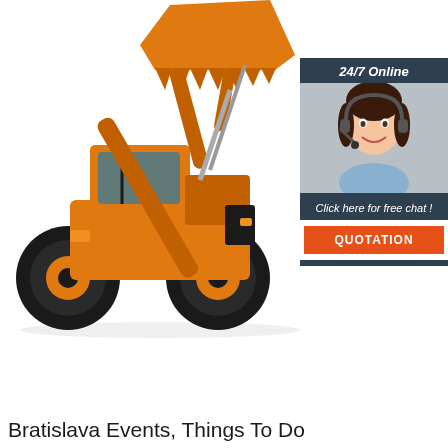[Figure (photo): Orange front loader / wheel loader construction machine on white background]
[Figure (infographic): Chat widget showing '24/7 Online' header, woman with headset, 'Click here for free chat!' text, and orange QUOTATION button]
Bratislava Events, Things To Do